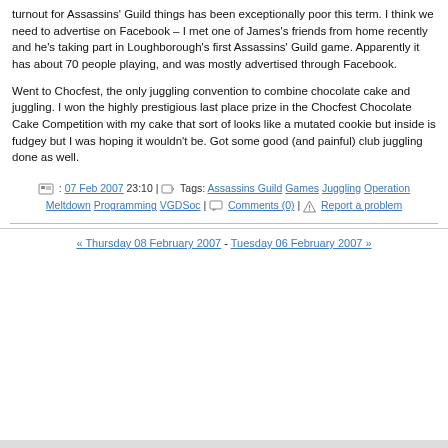turnout for Assassins' Guild things has been exceptionally poor this term. I think we need to advertise on Facebook – I met one of James's friends from home recently and he's taking part in Loughborough's first Assassins' Guild game. Apparently it has about 70 people playing, and was mostly advertised through Facebook.
Went to Chocfest, the only juggling convention to combine chocolate cake and juggling. I won the highly prestigious last place prize in the Chocfest Chocolate Cake Competition with my cake that sort of looks like a mutated cookie but inside is fudgey but I was hoping it wouldn't be. Got some good (and painful) club juggling done as well.
: 07 Feb 2007 23:10 | Tags: Assassins Guild Games Juggling Operation Meltdown Programming VGDSoc | Comments (0) | Report a problem
« Thursday 08 February 2007 - Tuesday 06 February 2007 »